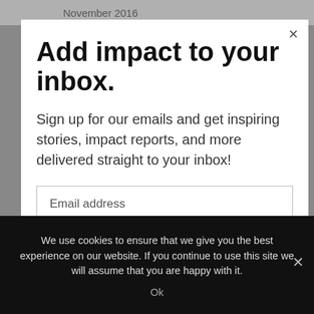November 2016
Add impact to your inbox.
Sign up for our emails and get inspiring stories, impact reports, and more delivered straight to your inbox!
Email address
We use cookies to ensure that we give you the best experience on our website. If you continue to use this site we will assume that you are happy with it.
Ok